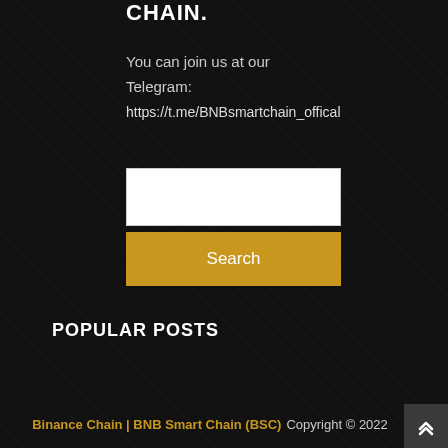CHAIN.
You can join us at our Telegram:
https://t.me/BNBsmartchain_offical
[Figure (other): Search input box (white rectangle)]
[Figure (other): Search button (gold/yellow rectangle with 'Search' label)]
POPULAR POSTS
Binance Chain | BNB Smart Chain (BSC) Copyright © 2022